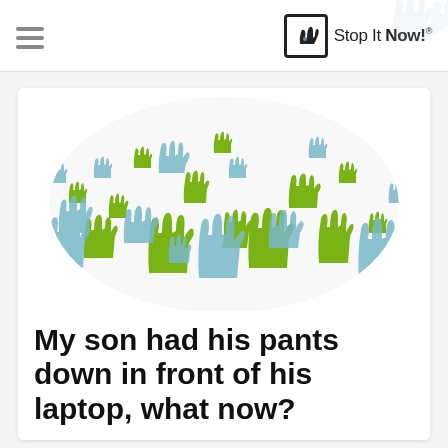Stop It Now!
[Figure (illustration): Decorative illustration of many green and light blue hand silhouettes of various sizes arranged in an oval/blob shape on a white background.]
My son had his pants down in front of his laptop, what now?